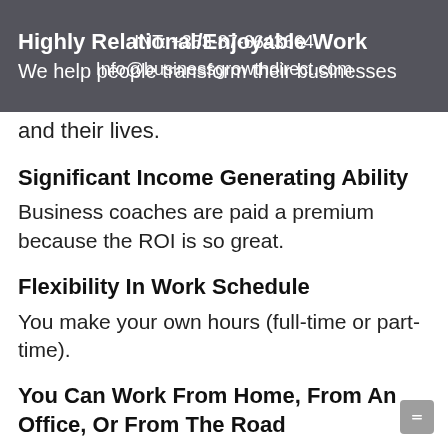Highly Relational/Enjoyable Work
We help people transform their businesses
and their lives.
Significant Income Generating Ability
Business coaches are paid a premium because the ROI is so great.
Flexibility In Work Schedule
You make your own hours (full-time or part-time).
You Can Work From Home, From An Office, Or From The Road
With several modalities of communication (in-